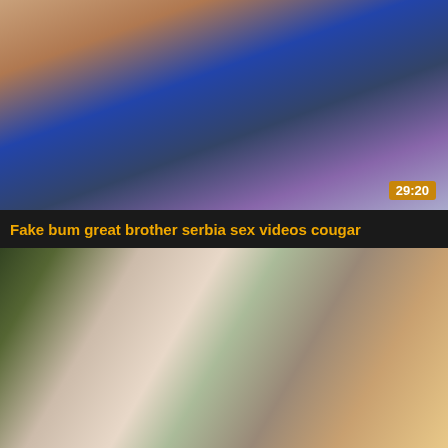[Figure (photo): Video thumbnail showing two people in a kitchen scene, duration badge showing 29:20]
Fake bum great brother serbia sex videos cougar
[Figure (photo): Video thumbnail showing three women in a living room scene with plants and candles]